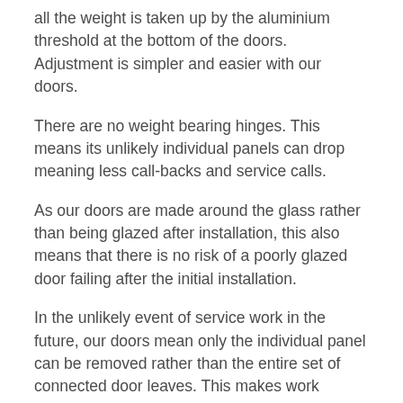all the weight is taken up by the aluminium threshold at the bottom of the doors. Adjustment is simpler and easier with our doors.
There are no weight bearing hinges. This means its unlikely individual panels can drop meaning less call-backs and service calls.
As our doors are made around the glass rather than being glazed after installation, this also means that there is no risk of a poorly glazed door failing after the initial installation.
In the unlikely event of service work in the future, our doors mean only the individual panel can be removed rather than the entire set of connected door leaves. This makes work easier, more